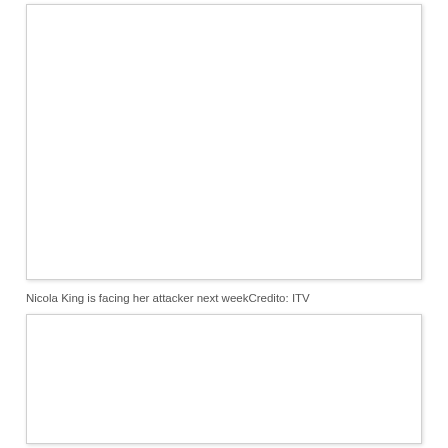[Figure (photo): Photo placeholder box (top) - white rectangle with border shadow, content not visible]
Nicola King is facing her attacker next weekCredito: ITV
[Figure (photo): Photo placeholder box (bottom) - white rectangle with border shadow, content not visible]